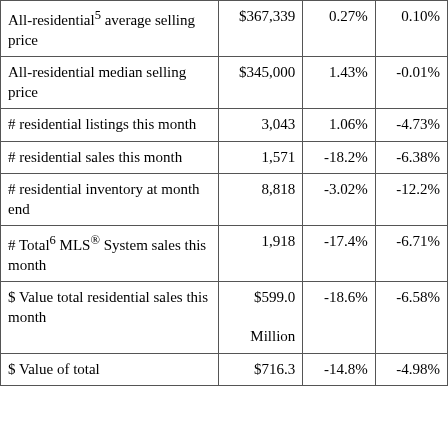|  |  |  |  |
| --- | --- | --- | --- |
| All-residential⁵ average selling price | $367,339 | 0.27% | 0.10% |
| All-residential median selling price | $345,000 | 1.43% | -0.01% |
| # residential listings this month | 3,043 | 1.06% | -4.73% |
| # residential sales this month | 1,571 | -18.2% | -6.38% |
| # residential inventory at month end | 8,818 | -3.02% | -12.2% |
| # Total⁶ MLS® System sales this month | 1,918 | -17.4% | -6.71% |
| $ Value total residential sales this month | $599.0 Million | -18.6% | -6.58% |
| $ Value of total | $716.3 | -14.8% | -4.98% |